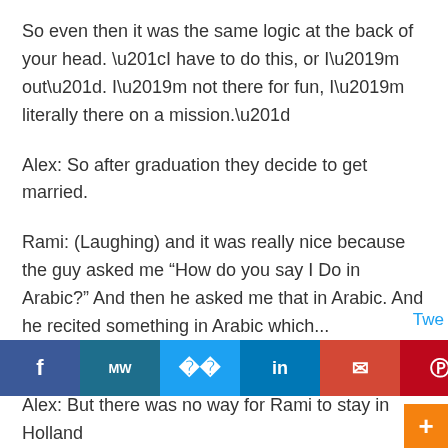So even then it was the same logic at the back of your head. “I have to do this, or I’m out”. I’m not there for fun, I’m literally there on a mission.”
Alex: So after graduation they decide to get married.
Rami: (Laughing) and it was really nice because the guy asked me “How do you say I Do in Arabic?” And then he asked me that in Arabic. And he recited something in Arabic which...
A: The pastor did?
Rami: Yeah. He did his research, it was really cosy, it was really small, that’s what we did. Followed by a nice lunch with the family
[Figure (other): Social media share bar with buttons for Facebook, MW, Twitter, LinkedIn, Email, Pinterest, Reddit, Mix, WhatsApp]
Alex: But there was no way for Rami to stay in Holland